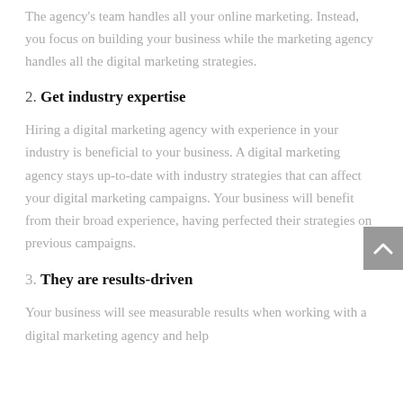The agency's team handles all your online marketing. Instead, you focus on building your business while the marketing agency handles all the digital marketing strategies.
2. Get industry expertise
Hiring a digital marketing agency with experience in your industry is beneficial to your business. A digital marketing agency stays up-to-date with industry strategies that can affect your digital marketing campaigns. Your business will benefit from their broad experience, having perfected their strategies on previous campaigns.
3. They are results-driven
Your business will see measurable results when working with a digital marketing agency and help